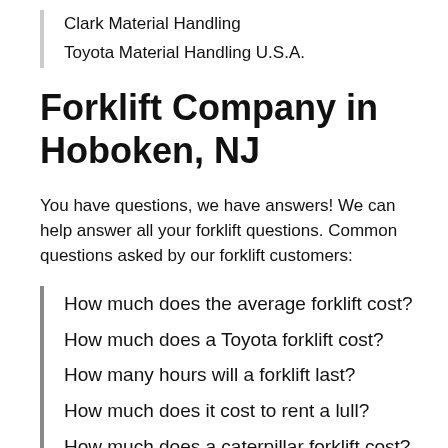Clark Material Handling
Toyota Material Handling U.S.A.
Forklift Company in Hoboken, NJ
You have questions, we have answers! We can help answer all your forklift questions. Common questions asked by our forklift customers:
How much does the average forklift cost?
How much does a Toyota forklift cost?
How many hours will a forklift last?
How much does it cost to rent a lull?
How much does a caterpillar forklift cost?
What brands does our f